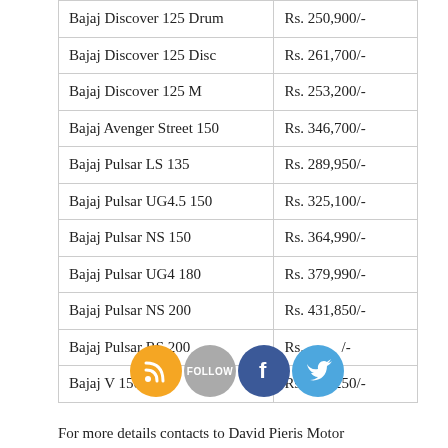| Model | Price |
| --- | --- |
| Bajaj Discover 125 Drum | Rs. 250,900/- |
| Bajaj Discover 125 Disc | Rs. 261,700/- |
| Bajaj Discover 125 M | Rs. 253,200/- |
| Bajaj Avenger Street 150 | Rs. 346,700/- |
| Bajaj Pulsar LS 135 | Rs. 289,950/- |
| Bajaj Pulsar UG4.5 150 | Rs. 325,100/- |
| Bajaj Pulsar NS 150 | Rs. 364,990/- |
| Bajaj Pulsar UG4 180 | Rs. 379,990/- |
| Bajaj Pulsar NS 200 | Rs. 431,850/- |
| Bajaj Pulsar RS 200 | Rs. [obscured] |
| Bajaj V 150cc | Rs. 313,250/- |
For more details contacts to David Pieris Motor